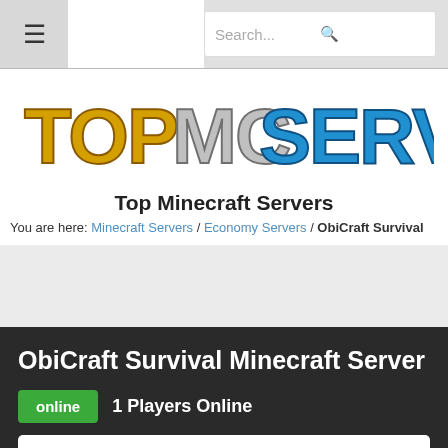≡  Search...  🔍
[Figure (logo): TopMCServers logo with stylized block letters in gold, gray and blue Minecraft style]
Top Minecraft Servers
You are here: Minecraft Servers / Economy Servers / ObiCraft Survival
ObiCraft Survival Minecraft Server
online  1 Players Online
MC.playobicraft.com